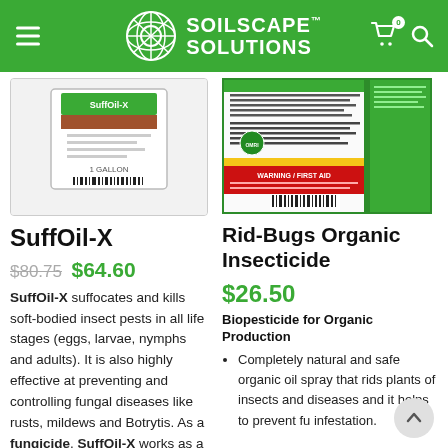Soilscape Solutions
[Figure (photo): SuffOil-X product packaging photo, white background]
SuffOil-X
$80.75 $64.60
SuffOil-X suffocates and kills soft-bodied insect pests in all life stages (eggs, larvae, nymphs and adults). It is also highly effective at preventing and controlling fungal diseases like rusts, mildews and Botrytis. As a fungicide, SuffOil-X works as a
[Figure (photo): Rid-Bugs Organic Insecticide product packaging, green label with text]
Rid-Bugs Organic Insecticide
$26.50
Biopesticide for Organic Production
Completely natural and safe organic oil spray that rids plants of insects and diseases and it helps to prevent fu infestation.